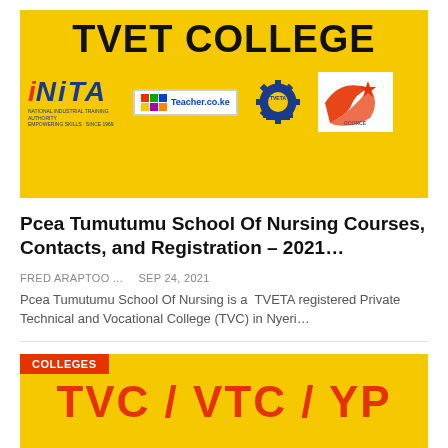[Figure (illustration): TVET College banner with yellow background showing logos: NITA (National Industrial Training Authority), Teacher.co.ke, TVETA gear logo, and GCORCE logo]
Pcea Tumutumu School Of Nursing Courses, Contacts, and Registration – 2021…
FRED ARAPTOO ...   Sep 24, 2021
Pcea Tumutumu School Of Nursing is a  TVETA registered Private Technical and Vocational College (TVC) in Nyeri…
[Figure (illustration): Yellow banner with red COLLEGES tag and text TVC / VTC / YP in red, TVET COLLEGE in black below]